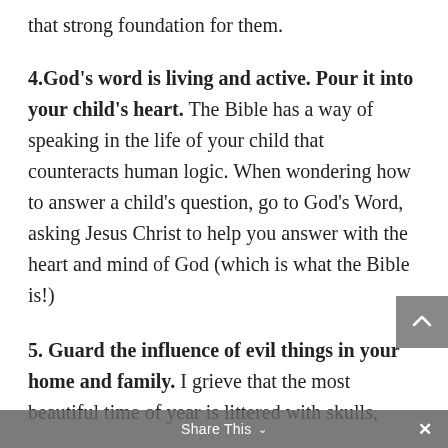that strong foundation for them.
4.God's word is living and active. Pour it into your child's heart. The Bible has a way of speaking in the life of your child that counteracts human logic. When wondering how to answer a child's question, go to God's Word, asking Jesus Christ to help you answer with the heart and mind of God (which is what the Bible is!)
5. Guard the influence of evil things in your home and family. I grieve that the most beautiful time of year is littered with skulls,
Share This ∨  ×